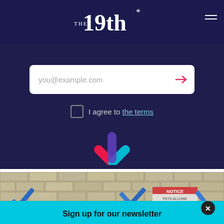THE 19th*
[Figure (screenshot): Email signup form with you@example.com placeholder and red arrow submit button, on dark navy background]
I agree to the terms
[Figure (logo): The 19th* asterisk logo mark in pink and blue/cyan crossing star shape]
[Figure (photo): Brick wall with VOTE sign and blue tape arrows, person partially visible, with cyan newsletter signup bar at bottom reading Sign up for our newsletter]